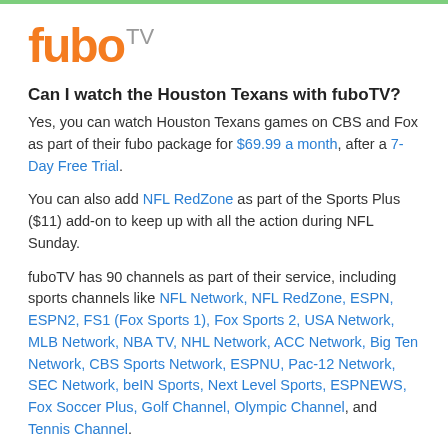[Figure (logo): fuboTV logo with orange 'fubo' text and gray 'TV' superscript]
Can I watch the Houston Texans with fuboTV?
Yes, you can watch Houston Texans games on CBS and Fox as part of their fubo package for $69.99 a month, after a 7-Day Free Trial.
You can also add NFL RedZone as part of the Sports Plus ($11) add-on to keep up with all the action during NFL Sunday.
fuboTV has 90 channels as part of their service, including sports channels like NFL Network, NFL RedZone, ESPN, ESPN2, FS1 (Fox Sports 1), Fox Sports 2, USA Network, MLB Network, NBA TV, NHL Network, ACC Network, Big Ten Network, CBS Sports Network, ESPNU, Pac-12 Network, SEC Network, beIN Sports, Next Level Sports, ESPNEWS, Fox Soccer Plus, Golf Channel, Olympic Channel, and Tennis Channel.
This is the full fuboTV Channel List.
Every fuboTV subscriber can record up to 1000 hours to their